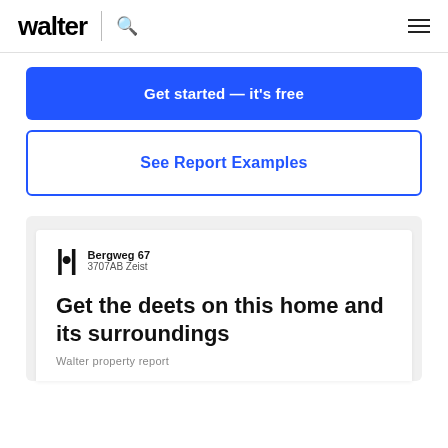walter | 🔍 ☰
Get started — it's free
See Report Examples
[Figure (screenshot): Walter property report preview card showing logo, address 'Bergweg 67, 3707AB Zeist', title 'Get the deets on this home and its surroundings', and subtitle 'Walter property report']